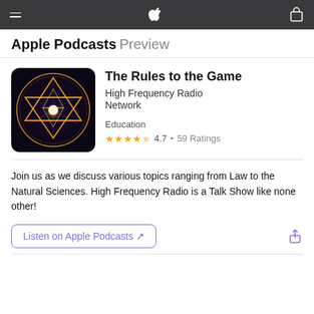Apple Podcasts Preview
The Rules to the Game
High Frequency Radio Network
Education
4.7 • 59 Ratings
[Figure (illustration): Podcast artwork showing a glowing golden geometric star tetrahedron inside a circle with triangles on a dark cosmic background]
Join us as we discuss various topics ranging from Law to the Natural Sciences. High Frequency Radio is a Talk Show like none other!
Listen on Apple Podcasts ↗